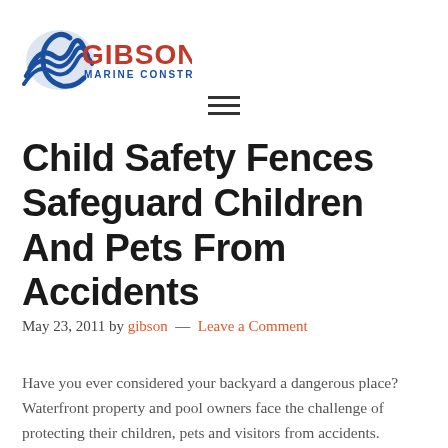[Figure (logo): Gibson Marine Construction logo with blue wave graphic and red/blue text]
[Figure (other): Hamburger menu icon with three horizontal lines]
Child Safety Fences Safeguard Children And Pets From Accidents
May 23, 2011 by gibson — Leave a Comment
Have you ever considered your backyard a dangerous place? Waterfront property and pool owners face the challenge of protecting their children, pets and visitors from accidents. Owners must be proactive and invest in some form of protection to safeguard their loved ones.